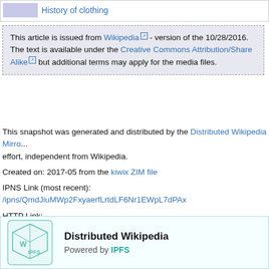|  | History of clothing |
This article is issued from Wikipedia - version of the 10/28/2016. The text is available under the Creative Commons Attribution/Share Alike but additional terms may apply for the media files.
This snapshot was generated and distributed by the Distributed Wikipedia Mirror effort, independent from Wikipedia.
Created on: 2017-05 from the kiwix ZIM file
IPNS Link (most recent): /ipns/QmdJiuMWp2FxyaerfLrtdLF6Nr1EWpL7dPAx
HTTP Link: https://bafybeiemxf5abjwjbikoz4mc3a3dla6ual3jsgpdr4cjr3oz3evfy
Download IPFS Here
[Figure (logo): Distributed Wikipedia powered by IPFS logo — a teal wireframe cube with W and IPFS labels, alongside text 'Distributed Wikipedia Powered by IPFS']